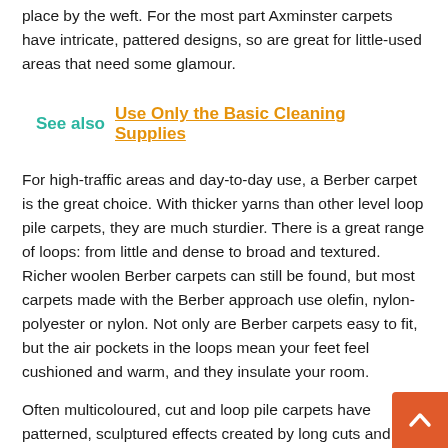place by the weft. For the most part Axminster carpets have intricate, pattered designs, so are great for little-used areas that need some glamour.
See also  Use Only the Basic Cleaning Supplies
For high-traffic areas and day-to-day use, a Berber carpet is the great choice. With thicker yarns than other level loop pile carpets, they are much sturdier. There is a great range of loops: from little and dense to broad and textured. Richer woolen Berber carpets can still be found, but most carpets made with the Berber approach use olefin, nylon-polyester or nylon. Not only are Berber carpets easy to fit, but the air pockets in the loops mean your feet feel cushioned and warm, and they insulate your room.
Often multicoloured, cut and loop pile carpets have patterned, sculptured effects created by long cuts and shorter loop fibres. Offering a medium resistance to wear, they are best placed in low-traffic areas in a prominent place – to be